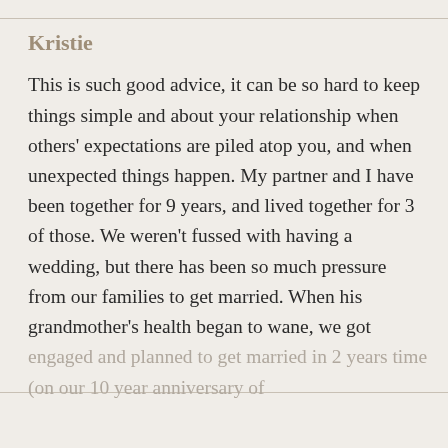Kristie
This is such good advice, it can be so hard to keep things simple and about your relationship when others' expectations are piled atop you, and when unexpected things happen. My partner and I have been together for 9 years, and lived together for 3 of those. We weren't fussed with having a wedding, but there has been so much pressure from our families to get married. When his grandmother's health began to wane, we got engaged and planned to get married in 2 years time (on our 10 year anniversary of